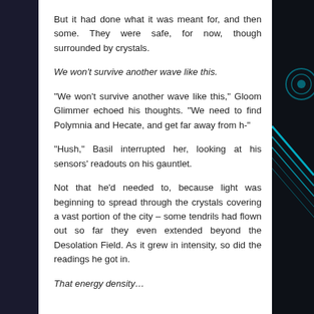But it had done what it was meant for, and then some. They were safe, for now, though surrounded by crystals.
We won’t survive another wave like this.
“We won’t survive another wave like this,” Gloom Glimmer echoed his thoughts. “We need to find Polymnia and Hecate, and get far away from h-”
“Hush,” Basil interrupted her, looking at his sensors’ readouts on his gauntlet.
Not that he’d needed to, because light was beginning to spread through the crystals covering a vast portion of the city – some tendrils had flown out so far they even extended beyond the Desolation Field. As it grew in intensity, so did the readings he got in.
That energy density…